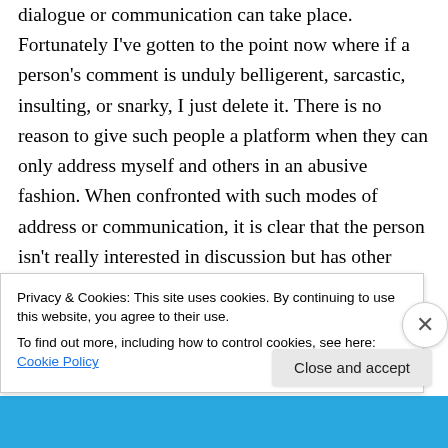dialogue or communication can take place. Fortunately I've gotten to the point now where if a person's comment is unduly belligerent, sarcastic, insulting, or snarky, I just delete it. There is no reason to give such people a platform when they can only address myself and others in an abusive fashion. When confronted with such modes of address or communication, it is clear that the person isn't really interested in discussion but has other motives. In other words, it isn't an issue of deleting anyone's comment
Privacy & Cookies: This site uses cookies. By continuing to use this website, you agree to their use.
To find out more, including how to control cookies, see here: Cookie Policy